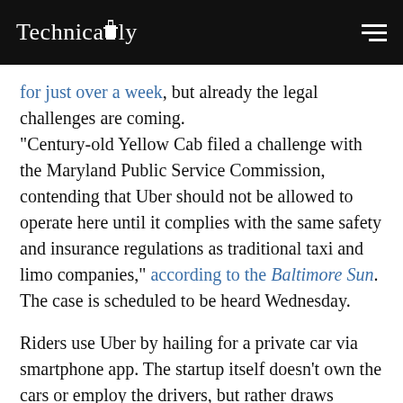Technically
for just over a week, but already the legal challenges are coming. “Century-old Yellow Cab filed a challenge with the Maryland Public Service Commission, contending that Uber should not be allowed to operate here until it complies with the same safety and insurance regulations as traditional taxi and limo companies,” according to the Baltimore Sun. The case is scheduled to be heard Wednesday.
Riders use Uber by hailing for a private car via smartphone app. The startup itself doesn’t own the cars or employ the drivers, but rather draws drivers from existing limo companies or independent